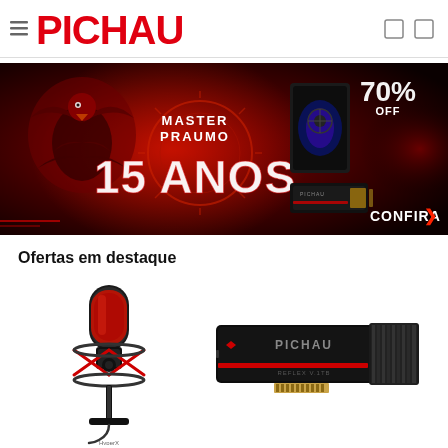[Figure (logo): Pichau logo in red bold text with hamburger menu icon on left and two square icons on right]
[Figure (infographic): Pichau 15 Anos Master Promo banner with dark red background, animated bird/eagle, gaming PC case, SSD, text '15 ANOS', 'MASTER PROMO', '70% OFF', 'CONFIRA']
Ofertas em destaque
[Figure (photo): HyperX red and black condenser microphone on stand]
[Figure (photo): Pichau Reflex V.1TB NVMe SSD black with red stripe and heatsink]